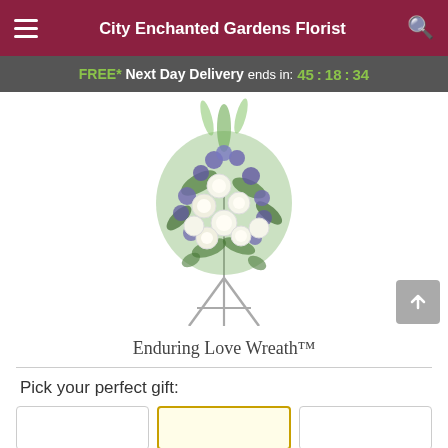City Enchanted Gardens Florist
FREE* Next Day Delivery ends in: 45:18:34
[Figure (photo): Enduring Love Wreath™ — a floral standing spray arrangement featuring white roses, purple/blue delphinium, and greenery on a silver easel stand.]
Enduring Love Wreath™
Pick your perfect gift: